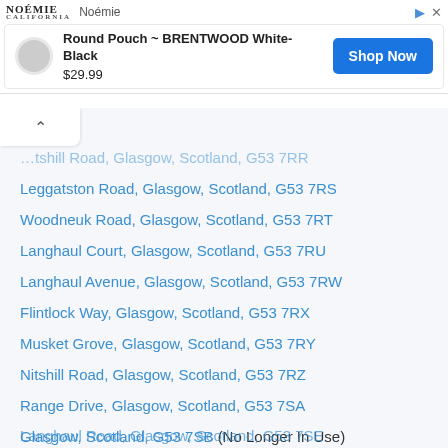[Figure (screenshot): Advertisement banner for Noémie brand showing Round Pouch BRENTWOOD White-Black for $29.99 with Shop Now button]
Nitshill Road, Glasgow, Scotland, G53 7RR
Leggatston Road, Glasgow, Scotland, G53 7RS
Woodneuk Road, Glasgow, Scotland, G53 7RT
Langhaul Court, Glasgow, Scotland, G53 7RU
Langhaul Avenue, Glasgow, Scotland, G53 7RW
Flintlock Way, Glasgow, Scotland, G53 7RX
Musket Grove, Glasgow, Scotland, G53 7RY
Nitshill Road, Glasgow, Scotland, G53 7RZ
Range Drive, Glasgow, Scotland, G53 7SA
Glasgow, Scotland, G53 7SB (No Longer In Use)
Welbeck Road, Glasgow, Scotland, G53 7SD
Langhaul Road, Glasgow, Scotland, G53 7SE